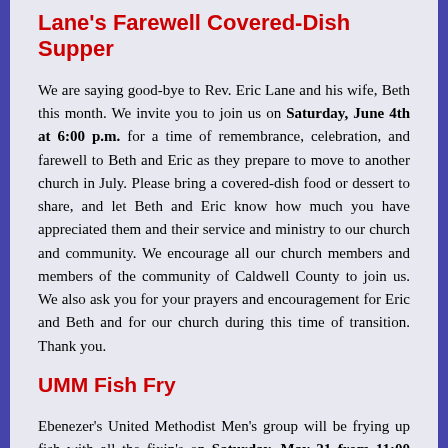Lane's Farewell Covered-Dish Supper
We are saying good-bye to Rev. Eric Lane and his wife, Beth this month. We invite you to join us on Saturday, June 4th at 6:00 p.m. for a time of remembrance, celebration, and farewell to Beth and Eric as they prepare to move to another church in July. Please bring a covered-dish food or dessert to share, and let Beth and Eric know how much you have appreciated them and their service and ministry to our church and community. We encourage all our church members and members of the community of Caldwell County to join us. We also ask you for your prayers and encouragement for Eric and Beth and for our church during this time of transition. Thank you.
UMM Fish Fry
Ebenezer's United Methodist Men's group will be frying up fish with all the fixin's on Saturday, May 21 from 11:00 a.m. 'til gone! I have no word yet on pricing, but I am sure it will be a